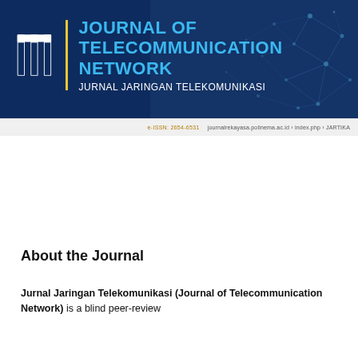[Figure (logo): Journal of Telecommunication Network header banner with logo icon, yellow vertical bar, journal title in blue and white text, and network graph background illustration]
e-ISSN: 2654-6531    journalrekayasa.polinema.ac.id › index.php › JARTIKA
About the Journal
Jurnal Jaringan Telekomunikasi (Journal of Telecommunication Network) is a blind peer-review